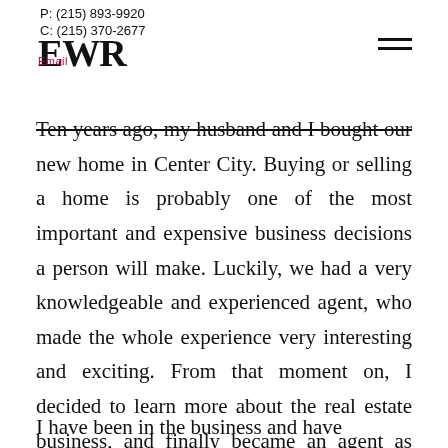P: (215) 893-9920
C: (215) 370-2677
EWR
Email
Ten years ago, my husband and I bought our new home in Center City. Buying or selling a home is probably one of the most important and expensive business decisions a person will make. Luckily, we had a very knowledgeable and experienced agent, who made the whole experience very interesting and exciting. From that moment on, I decided to learn more about the real estate business, and finally became an agent as well.
I have been in the business and have...